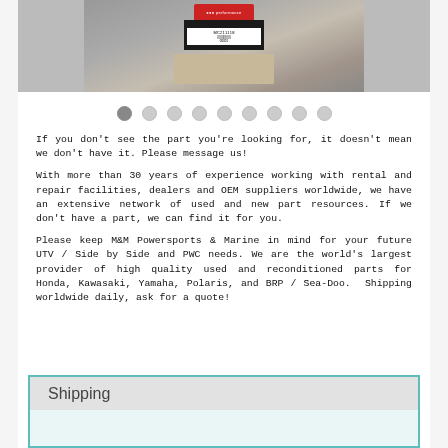[Figure (photo): Product photo showing a boxed part with a label sticker on top, viewed from above on a light background.]
If you don't see the part you're looking for, it doesn't mean we don't have it. Please message us!
With more than 30 years of experience working with rental and repair facilities, dealers and OEM suppliers worldwide, we have an extensive network of used and new part resources. If we don't have a part, we can find it for you.
Please keep M&M Powersports & Marine in mind for your future UTV / Side by Side and PWC needs. We are the world's largest provider of high quality used and reconditioned parts for Honda, Kawasaki, Yamaha, Polaris, and BRP / Sea-Doo.  Shipping worldwide daily, ask for a quote!
Shipping